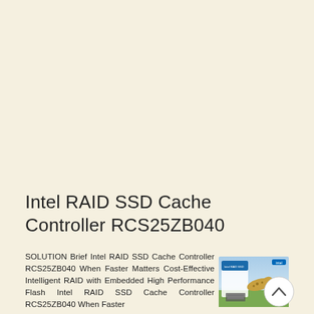Intel RAID SSD Cache Controller RCS25ZB040
SOLUTION Brief Intel RAID SSD Cache Controller RCS25ZB040 When Faster Matters Cost-Effective Intelligent RAID with Embedded High Performance Flash Intel RAID SSD Cache Controller RCS25ZB040 When Faster
[Figure (photo): Thumbnail image of Intel RAID SSD Cache Controller RCS25ZB040 solution brief document cover showing a cheetah running over server hardware on a green field background]
[Figure (other): Circular scroll-up navigation button with an upward chevron arrow]